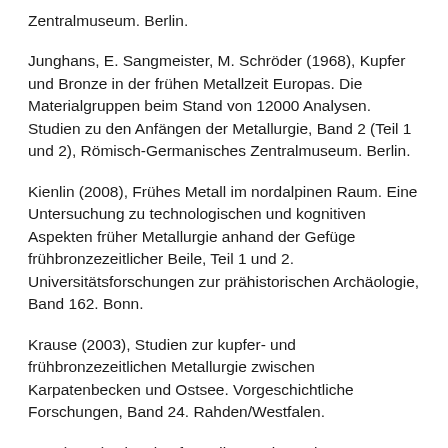Zentralmuseum. Berlin.
Junghans, E. Sangmeister, M. Schröder (1968), Kupfer und Bronze in der frühen Metallzeit Europas. Die Materialgruppen beim Stand von 12000 Analysen. Studien zu den Anfängen der Metallurgie, Band 2 (Teil 1 und 2), Römisch-Germanisches Zentralmuseum. Berlin.
Kienlin (2008), Frühes Metall im nordalpinen Raum. Eine Untersuchung zu technologischen und kognitiven Aspekten früher Metallurgie anhand der Gefüge frühbronzezeitlicher Beile, Teil 1 und 2. Universitätsforschungen zur prähistorischen Archäologie, Band 162. Bonn.
Krause (2003), Studien zur kupfer- und frühbronzezeitlichen Metallurgie zwischen Karpatenbecken und Ostsee. Vorgeschichtliche Forschungen, Band 24. Rahden/Westfalen.
Lutz (2016), Alpenkupfer – die Ostalpen als Rohstoffquelle